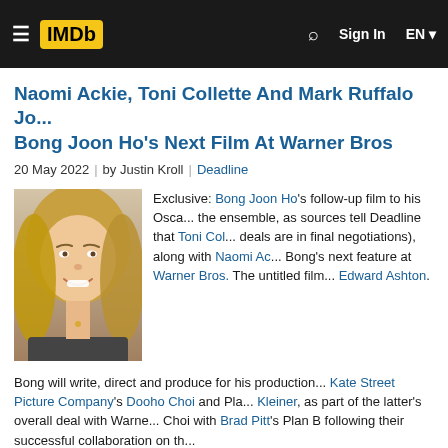IMDb | Sign In | EN
Naomi Ackie, Toni Collette And Mark Ruffalo Jo... Bong Joon Ho's Next Film At Warner Bros
20 May 2022 | by Justin Kroll | Deadline
[Figure (photo): Photo of a blonde woman smiling, likely Toni Collette]
Exclusive: Bong Joon Ho's follow-up film to his Osca... the ensemble, as sources tell Deadline that Toni Col... deals are in final negotiations), along with Naomi Ac... Bong's next feature at Warner Bros. The untitled film... Edward Ashton.
Bong will write, direct and produce for his production... Kate Street Picture Company's Dooho Choi and Pla... Kleiner, as part of the latter's overall deal with Warne... Choi with Brad Pitt's Plan B following their successful collaboration on th...
The book was published in February by St. Martin, a Macmillan imprint. W... novel, sources say that given Bong's past experiences with adaptations,
See full article at Deadline »
Report this